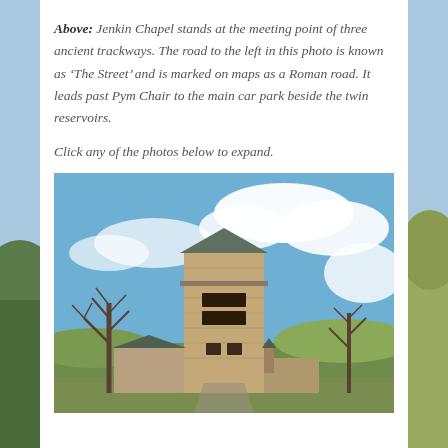Above: Jenkin Chapel stands at the meeting point of three ancient trackways. The road to the left in this photo is known as 'The Street' and is marked on maps as a Roman road. It leads past Pym Chair to the main car park beside the twin reservoirs.
Click any of the photos below to expand.
[Figure (photo): Photograph of Jenkin Chapel, a stone building with a square tower, surrounded by bare trees against a blue sky with white clouds. Green hills visible in the background.]